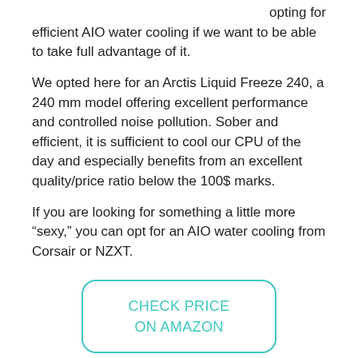opting for efficient AIO water cooling if we want to be able to take full advantage of it.
We opted here for an Arctis Liquid Freeze 240, a 240 mm model offering excellent performance and controlled noise pollution. Sober and efficient, it is sufficient to cool our CPU of the day and especially benefits from an excellent quality/price ratio below the 100$ marks.
If you are looking for something a little more “sexy,” you can opt for an AIO water cooling from Corsair or NZXT.
CHECK PRICE
ON AMAZON
Power Supply- Corsair RM750X